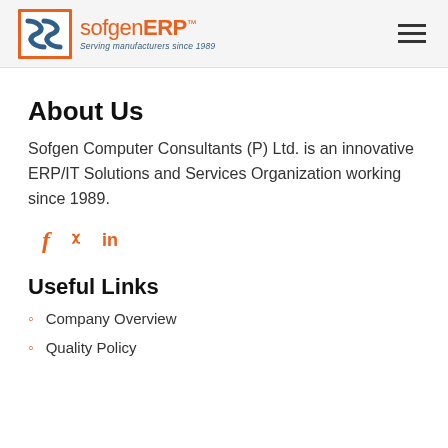sofgenERP™ — Serving manufacturers since 1989
About Us
Sofgen Computer Consultants (P) Ltd. is an innovative ERP/IT Solutions and Services Organization working since 1989.
[Figure (infographic): Social media icons: Facebook (f), Twitter (bird/t), LinkedIn (in) in orange color]
Useful Links
Company Overview
Quality Policy